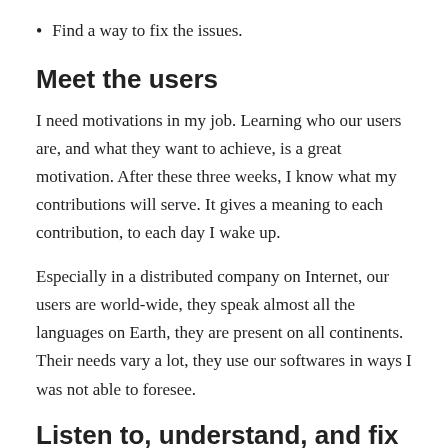Find a way to fix the issues.
Meet the users
I need motivations in my job. Learning who our users are, and what they want to achieve, is a great motivation. After these three weeks, I know what my contributions will serve. It gives a meaning to each contribution, to each day I wake up.
Especially in a distributed company on Internet, our users are world-wide, they speak almost all the languages on Earth, they are present on all continents. Their needs vary a lot, they use our softwares in ways I was not able to foresee.
Listen to, understand, and fix their issues